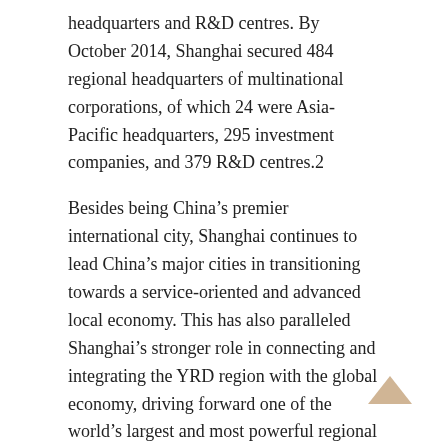headquarters and R&D centres. By October 2014, Shanghai secured 484 regional headquarters of multinational corporations, of which 24 were Asia-Pacific headquarters, 295 investment companies, and 379 R&D centres.2
Besides being China’s premier international city, Shanghai continues to lead China’s major cities in transitioning towards a service-oriented and advanced local economy. This has also paralleled Shanghai’s stronger role in connecting and integrating the YRD region with the global economy, driving forward one of the world’s largest and most powerful regional economies.
Chongqing: Shanghai of the West